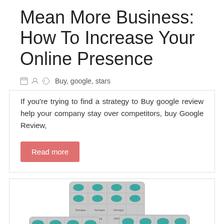Mean More Business: How To Increase Your Online Presence
Buy, google, stars
If you're trying to find a strategy to Buy google review help your company stay over competitors, buy Google Review,
Read more
[Figure (photo): Blister packs of blue diamond-shaped pills (pharmaceutical tablets), arranged in a cross/overlapping pattern on a white background.]